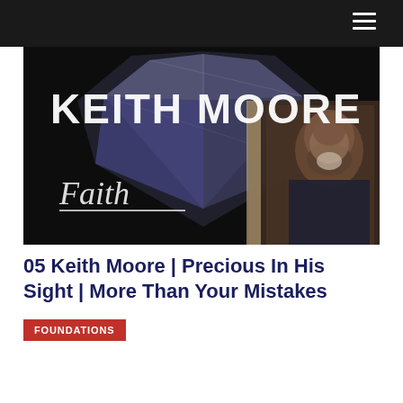[Figure (screenshot): Video thumbnail showing 'KEITH MOORE' text over a diamond background image with a man (Keith Moore) visible on the right side, and the word 'Faith' in the lower left area. The overall image has a dark cinematic style.]
05 Keith Moore | Precious In His Sight | More Than Your Mistakes
FOUNDATIONS